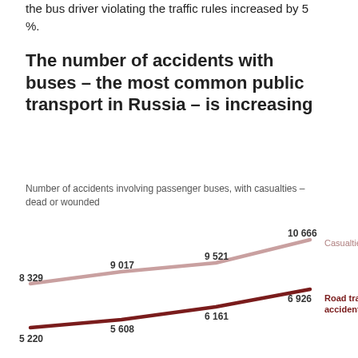the bus driver violating the traffic rules increased by 5 %.
The number of accidents with buses – the most common public transport in Russia – is increasing
Number of accidents involving passenger buses, with casualties – dead or wounded
[Figure (line-chart): Number of accidents involving passenger buses, with casualties – dead or wounded]